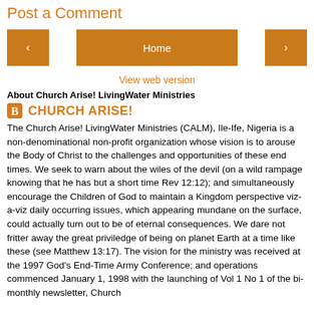Post a Comment
[Figure (infographic): Navigation bar with left arrow button, Home center button, and right arrow button, all in orange/brown color, plus a 'View web version' link below]
View web version
About Church Arise! LivingWater Ministries
CHURCH ARISE!
The Church Arise! LivingWater Ministries (CALM), Ile-Ife, Nigeria is a non-denominational non-profit organization whose vision is to arouse the Body of Christ to the challenges and opportunities of these end times. We seek to warn about the wiles of the devil (on a wild rampage knowing that he has but a short time Rev 12:12); and simultaneously encourage the Children of God to maintain a Kingdom perspective viz-a-viz daily occurring issues, which appearing mundane on the surface, could actually turn out to be of eternal consequences. We dare not fritter away the great priviledge of being on planet Earth at a time like these (see Matthew 13:17). The vision for the ministry was received at the 1997 God's End-Time Army Conference; and operations commenced January 1, 1998 with the launching of Vol 1 No 1 of the bi-monthly newsletter, Church